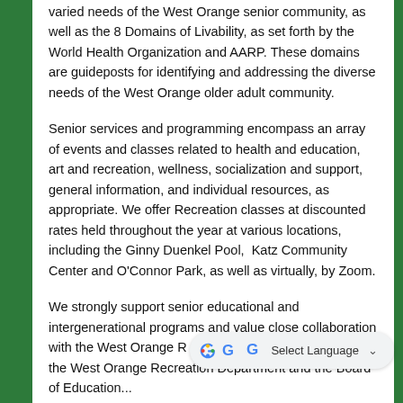varied needs of the West Orange senior community, as well as the 8 Domains of Livability, as set forth by the World Health Organization and AARP. These domains are guideposts for identifying and addressing the diverse needs of the West Orange older adult community.
Senior services and programming encompass an array of events and classes related to health and education, art and recreation, wellness, socialization and support, general information, and individual resources, as appropriate. We offer Recreation classes at discounted rates held throughout the year at various locations, including the Ginny Duenkel Pool, Katz Community Center and O'Connor Park, as well as virtually, by Zoom.
We strongly support senior educational and intergenerational programs and value close collaboration with the West Orange R... Orange Department of Health, the West Orange Recreation Department and the Board of Education...